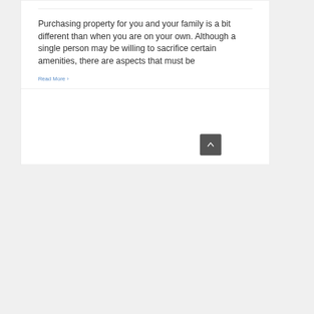Purchasing property for you and your family is a bit different than when you are on your own. Although a single person may be willing to sacrifice certain amenities, there are aspects that must be
Read More ›